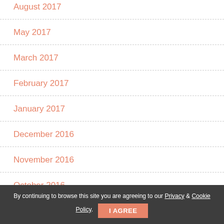August 2017
May 2017
March 2017
February 2017
January 2017
December 2016
November 2016
October 2016
August 2016
July 2016
By continuing to browse this site you are agreeing to our Privacy & Cookie Policy. I AGREE